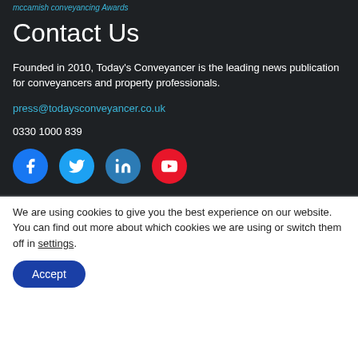mccamish conveyancing Awards
Contact Us
Founded in 2010, Today's Conveyancer is the leading news publication for conveyancers and property professionals.
press@todaysconveyancer.co.uk
0330 1000 839
[Figure (infographic): Social media icons: Facebook (blue circle), Twitter (blue circle), LinkedIn (blue circle), YouTube (red circle)]
We are using cookies to give you the best experience on our website.
You can find out more about which cookies we are using or switch them off in settings.
Accept